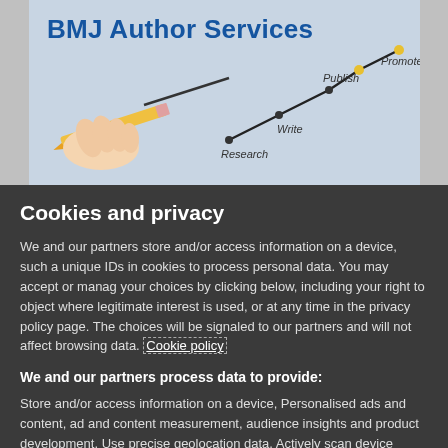[Figure (illustration): BMJ Author Services banner with light blue background. Shows bold blue text 'BMJ Author Services' at top left, a hand holding a pencil on the left, and a line chart showing stages: Research, Write, Publish, Promote with dots connected by lines.]
Cookies and privacy
We and our partners store and/or access information on a device, such a unique IDs in cookies to process personal data. You may accept or manag your choices by clicking below, including your right to object where legitimate interest is used, or at any time in the privacy policy page. The choices will be signaled to our partners and will not affect browsing data. Cookie policy
We and our partners process data to provide:
Store and/or access information on a device, Personalised ads and content, ad and content measurement, audience insights and product development, Use precise geolocation data, Actively scan device characteristics for identification
List of Partners (vendors)